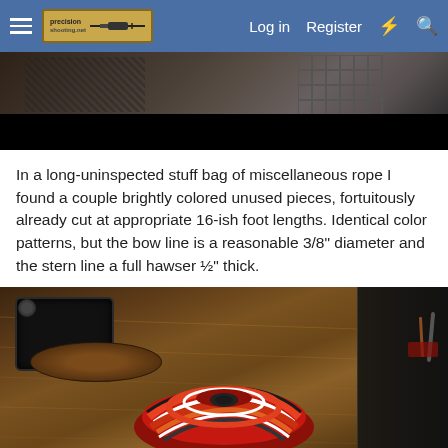Log in  Register
[Figure (photo): Top portion of a photo showing a dark scene, partially visible person or object with a grid/cage pattern visible on the right, black bar at bottom]
In a long-uninspected stuff bag of miscellaneous rope I found a couple brightly colored unused pieces, fortuitously already cut at appropriate 16-ish foot lengths. Identical color patterns, but the bow line is a reasonable 3/8" diameter and the stern line a full hawser ½" thick.
[Figure (photo): Photo of coiled multicolored rope (red, orange, white, black pattern) sitting on a wooden boat surface with dark hardware/cleats visible, storage area in background]